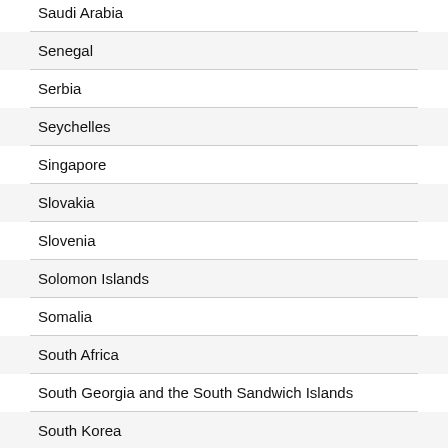Saudi Arabia
Senegal
Serbia
Seychelles
Singapore
Slovakia
Slovenia
Solomon Islands
Somalia
South Africa
South Georgia and the South Sandwich Islands
South Korea
Spain
Sri Lanka
Sudan